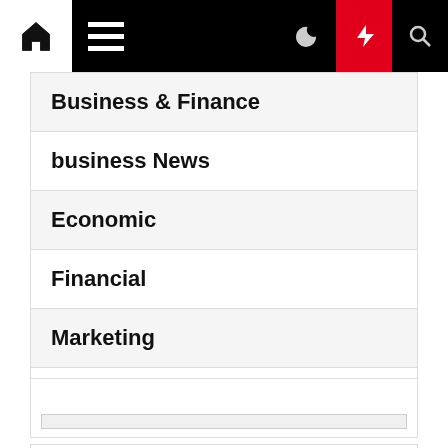Navigation bar with home, menu, dark mode, lightning/breaking, and search icons
Business & Finance
business News
Economic
Financial
Marketing
Uncategorized
[Figure (other): Widget advertisement or embed box with a light gray bar at the bottom]
BUSINESS